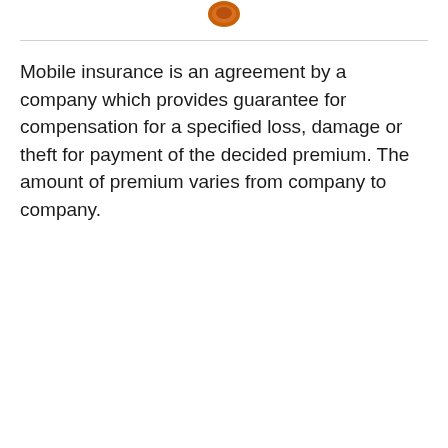[Figure (logo): Small orange/brown circular logo or icon at the top center of the page]
Mobile insurance is an agreement by a company which provides guarantee for compensation for a specified loss, damage or theft for payment of the decided premium. The amount of premium varies from company to company.